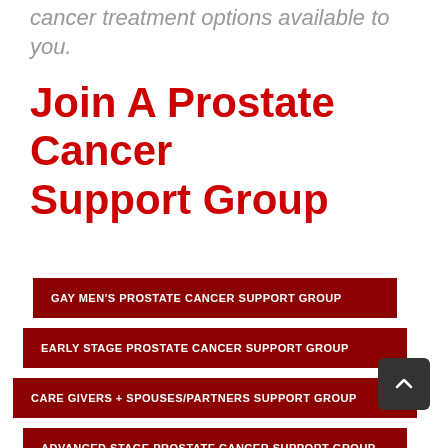cancer treatment options available to you.
Join A Prostate Cancer Support Group
GAY MEN'S PROSTATE CANCER SUPPORT GROUP
EARLY STAGE PROSTATE CANCER SUPPORT GROUP
CARE GIVERS + SPOUSES/PARTNERS SUPPORT GROUP
ADVANCED STAGE PROSTATE CANCER SUPPORT GROUP
ERECTILE DYSFUNCTION SUPPORT GROUP